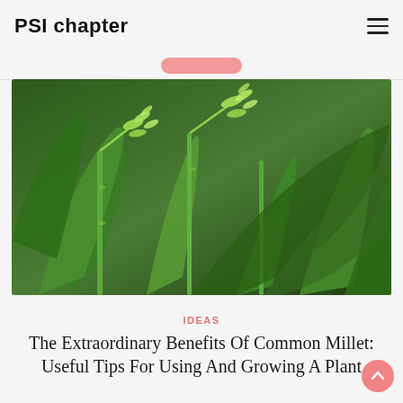PSI chapter
[Figure (photo): Close-up photo of green millet/grain plants with seed heads, lush green foliage]
IDEAS
The Extraordinary Benefits Of Common Millet: Useful Tips For Using And Growing A Plant